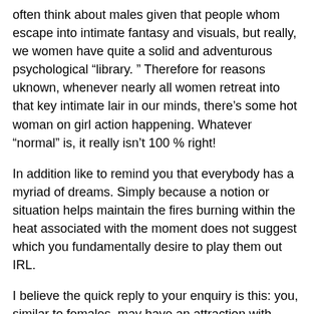often think about males given that people whom escape into intimate fantasy and visuals, but really, we women have quite a solid and adventurous psychological “library. ” Therefore for reasons uknown, whenever nearly all women retreat into that key intimate lair in our minds, there’s some hot woman on girl action happening. Whatever “normal” is, it really isn’t 100 % right!
In addition like to remind you that everybody has a myriad of dreams. Simply because a notion or situation helps maintain the fires burning within the heat associated with the moment does not suggest which you fundamentally desire to play them out IRL.
I believe the quick reply to your enquiry is this: you, similar to females, may have an attraction with other females in order to find them sexy, nonetheless it does not suggest you need to leave your boyfriend or bother about taken from the cabinet.
Then when it comes down to determining your very